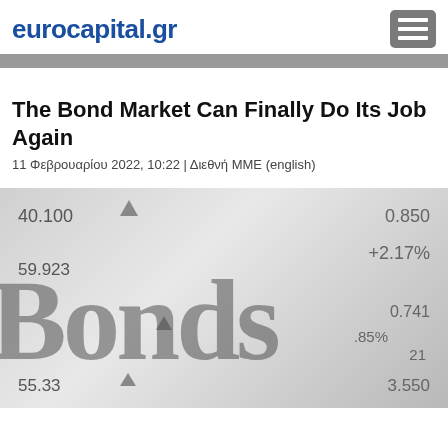eurocapital.gr
The Bond Market Can Finally Do Its Job Again
11 Φεβρουαρίου 2022, 10:22 | Διεθνή ΜΜΕ (english)
[Figure (photo): Close-up photo of a financial screen showing bond market data with the word 'Bonds' prominently displayed over numbers including 40.100, 0.850, +2.17%, 59.923, 0.741, .85%, 55.33, 3.550 with up arrows]